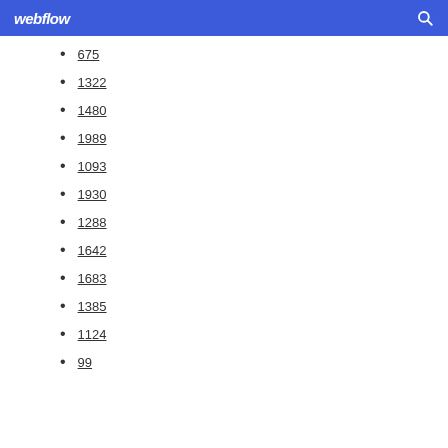webflow
675
1322
1480
1989
1093
1930
1288
1642
1683
1385
1124
99